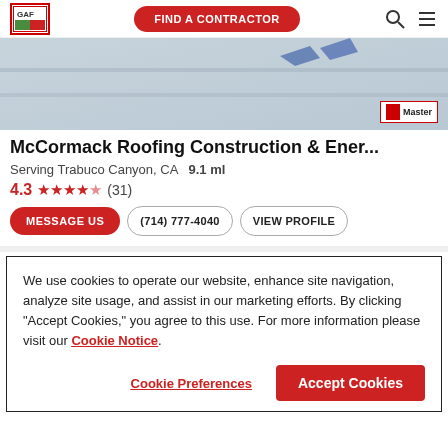[Figure (logo): GAF logo in red border box]
[Figure (screenshot): Navigation bar with FIND A CONTRACTOR button, search icon, and menu icon]
[Figure (photo): Roofing material/shingle image with Master Elite badge in bottom right corner]
McCormack Roofing Construction & Ener...
Serving Trabuco Canyon, CA   9.1 ml
4.3 ★★★★☆ (31)
MESSAGE US   (714) 777-4040   VIEW PROFILE
We use cookies to operate our website, enhance site navigation, analyze site usage, and assist in our marketing efforts. By clicking "Accept Cookies," you agree to this use. For more information please visit our Cookie Notice.
Cookie Preferences   Accept Cookies